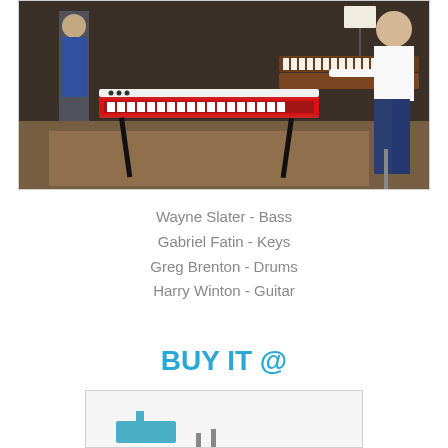[Figure (photo): Musicians in a recording studio session with keyboards including a red Nord keyboard on a stand and a Hammond organ-style keyboard, with a person in a white t-shirt playing at the keyboards]
Wayne Slater - Bass
Gabriel Fatin - Keys
Greg Brenton - Drums
Harry Winton - Guitar
BUY IT @
[Figure (screenshot): Partially visible image in a bordered box at the bottom of the page]